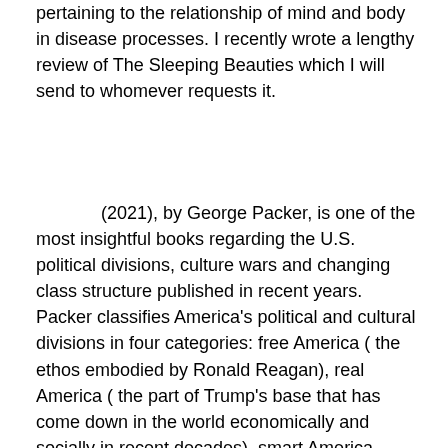pertaining to the relationship of mind and body in disease processes. I recently wrote a lengthy review of The Sleeping Beauties which I will send to whomever requests it.
(2021), by George Packer, is one of the most insightful books regarding the U.S. political divisions, culture wars and changing class structure published in recent years. Packer classifies America's political and cultural divisions in four categories: free America ( the ethos embodied by Ronald Reagan), real America ( the part of Trump's base that has come down in the world economically and socially in recent decades), smart America  (corporate America and universities) and just America ( liberals and social justice advocates).  Packer's discussion of how the alliances and conflicts between and among these four groups has realigned